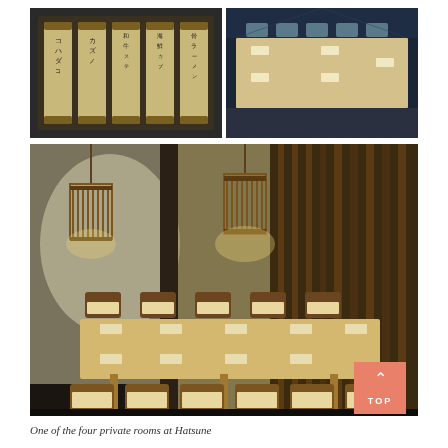[Figure (photo): Left: Japanese calligraphy scrolls on wall displaying menu items in Japanese characters. Right: Long dining table set for multiple guests with chairs, place settings, in a restaurant interior.]
[Figure (photo): Private dining room at Hatsune restaurant. Wooden dining table with chairs, Japanese pendant lamps, wooden slat partition walls, frosted glass panels, warm lighting.]
One of the four private rooms at Hatsune